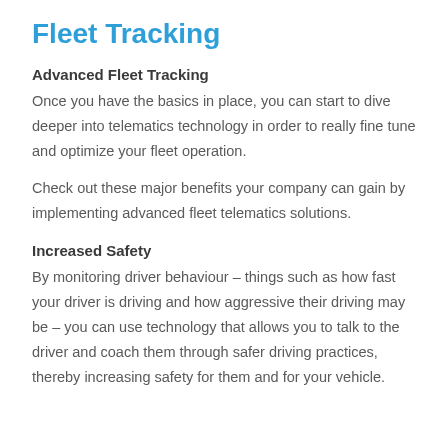Fleet Tracking
Advanced Fleet Tracking
Once you have the basics in place, you can start to dive deeper into telematics technology in order to really fine tune and optimize your fleet operation.
Check out these major benefits your company can gain by implementing advanced fleet telematics solutions.
Increased Safety
By monitoring driver behaviour – things such as how fast your driver is driving and how aggressive their driving may be – you can use technology that allows you to talk to the driver and coach them through safer driving practices, thereby increasing safety for them and for your vehicle.